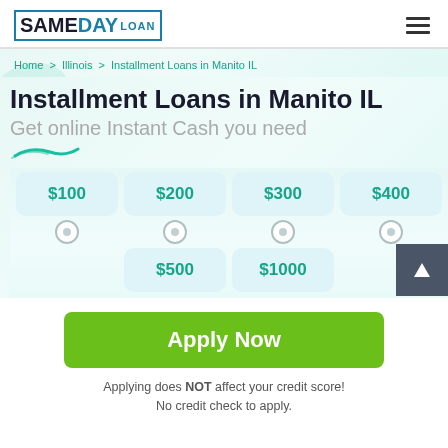SAMEDAY LOAN
Home > Illinois > Installment Loans in Manito IL
Installment Loans in Manito IL
Get online Instant Cash you need
[Figure (infographic): Loan amount selector with options: $100, $200, $300, $400, $500, $1000 with radio buttons below each amount box]
Apply Now
Applying does NOT affect your credit score! No credit check to apply.